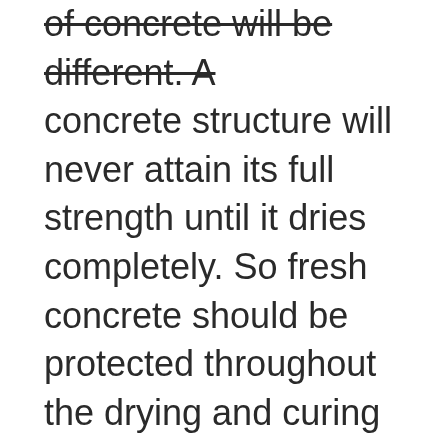of concrete will be different. A concrete structure will never attain its full strength until it dries completely. So fresh concrete should be protected throughout the drying and curing stage.